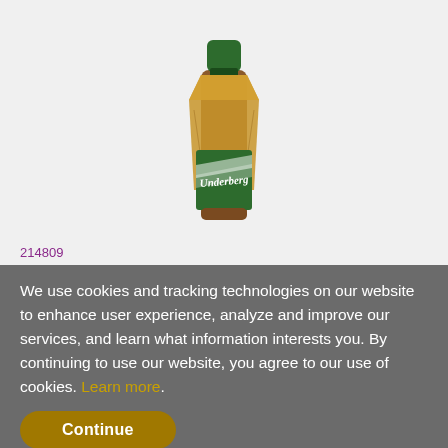[Figure (photo): Underberg bitters bottle with brown paper wrapping and green label and cap]
214809
UNDERBERG
We use cookies and tracking technologies on our website to enhance user experience, analyze and improve our services, and learn what information interests you. By continuing to use our website, you agree to our use of cookies. Learn more.
Continue